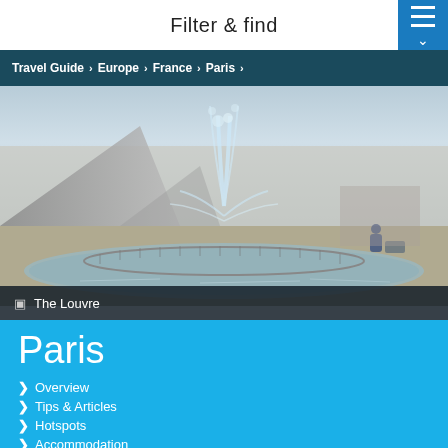Filter & find
Travel Guide > Europe > France > Paris >
[Figure (photo): The Louvre fountain area with water spray and reflection pool]
The Louvre
Paris
Overview
Tips & Articles
Hotspots
Accommodation
Flights